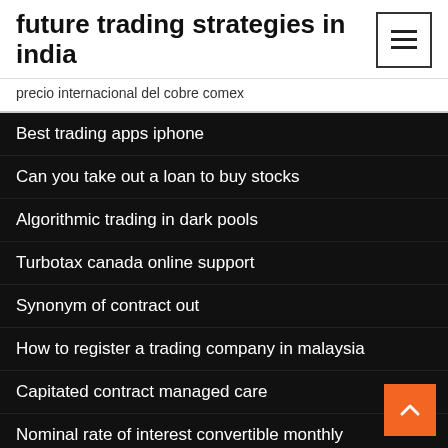future trading strategies in india
precio internacional del cobre comex
Best trading apps iphone
Can you take out a loan to buy stocks
Algorithmic trading in dark pools
Turbotax canada online support
Synonym of contract out
How to register a trading company in malaysia
Capitated contract managed care
Nominal rate of interest convertible monthly
Alternative energy stocks under $10
Duration when interest rates fall